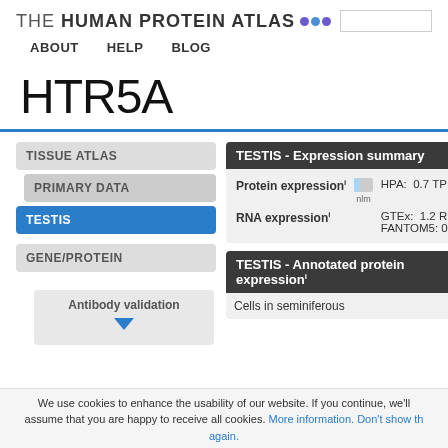THE HUMAN PROTEIN ATLAS
ABOUT  HELP  BLOG
HTR5A
TISSUE ATLAS
PRIMARY DATA
TESTIS
GENE/PROTEIN
|  | TESTIS - Expression summary |
| --- | --- |
| Protein expression⁺ | HPA: 0.7 TP... |
| RNA expression⁺ | GTEx: 1.2 RP... | FANTOM5: 0.0 Tag... |
Antibody validation
| TESTIS - Annotated protein expression⁺ |
| --- |
| Cells in seminiferous... |
We use cookies to enhance the usability of our website. If you continue, we'll assume that you are happy to receive all cookies. More information. Don't show this again.